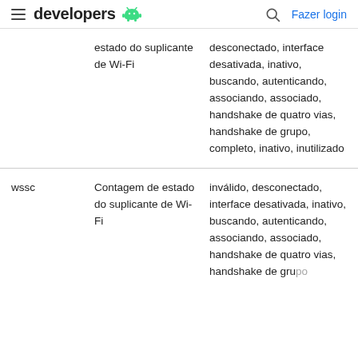developers — Fazer login
|  |  |  |
| --- | --- | --- |
|  | estado do suplicante de Wi-Fi | desconectado, interface desativada, inativo, buscando, autenticando, associando, associado, handshake de quatro vias, handshake de grupo, completo, inativo, inutilizado |
| wssc | Contagem de estado do suplicante de Wi-Fi | inválido, desconectado, interface desativada, inativo, buscando, autenticando, associando, associado, handshake de quatro vias, handshake de grupo, ... |